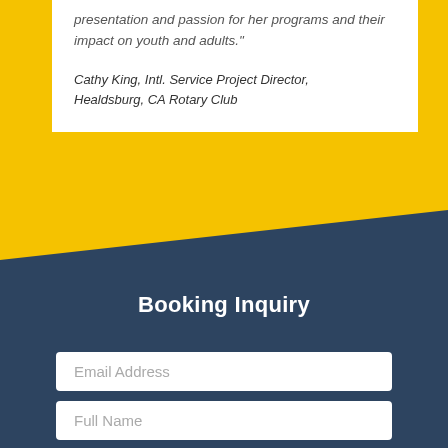presentation and passion for her programs and their impact on youth and adults."
Cathy King, Intl. Service Project Director, Healdsburg, CA Rotary Club
Booking Inquiry
Email Address
Full Name